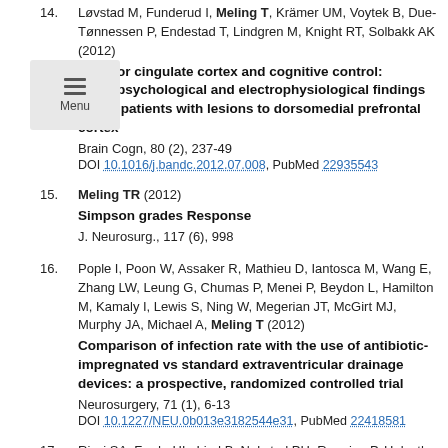14. Løvstad M, Funderud I, Meling T, Krämer UM, Voytek B, Due-Tønnessen P, Endestad T, Lindgren M, Knight RT, Solbakk AK (2012) Anterior cingulate cortex and cognitive control: Neuropsychological and electrophysiological findings in two patients with lesions to dorsomedial prefrontal cortex. Brain Cogn, 80 (2), 237-49. DOI 10.1016/j.bandc.2012.07.008, PubMed 22935543
15. Meling TR (2012) Simpson grades Response. J. Neurosurg., 117 (6), 998
16. Pople I, Poon W, Assaker R, Mathieu D, Iantosca M, Wang E, Zhang LW, Leung G, Chumas P, Menei P, Beydon L, Hamilton M, Kamaly I, Lewis S, Ning W, Megerian JT, McGirt MJ, Murphy JA, Michael A, Meling T (2012) Comparison of infection rate with the use of antibiotic-impregnated vs standard extraventricular drainage devices: a prospective, randomized controlled trial. Neurosurgery, 71 (1), 6-13. DOI 10.1227/NEU.0b013e3182544e31, PubMed 22418581
17. Rizvi SA, Fredø HL, Lied B, Nakstad PH, Rønning P, Helseth E (2012) Surgical management of acute odontoid fractures: surgery-related complications and long-term outcomes in a consecutive series of 97 patients